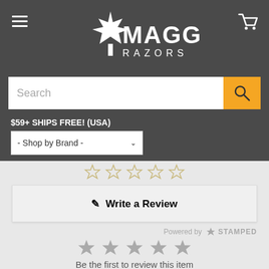[Figure (logo): Maggard Razors logo with maple leaf, white text on dark gray background]
[Figure (screenshot): Search bar with orange search button]
$59+ SHIPS FREE! (USA)
[Figure (screenshot): Shop by Brand dropdown selector]
[Figure (other): Five outline star rating icons]
[Figure (screenshot): Write a Review button with pencil icon]
Powered by STAMPED
[Figure (other): Five filled gray star rating icons]
Be the first to review this item